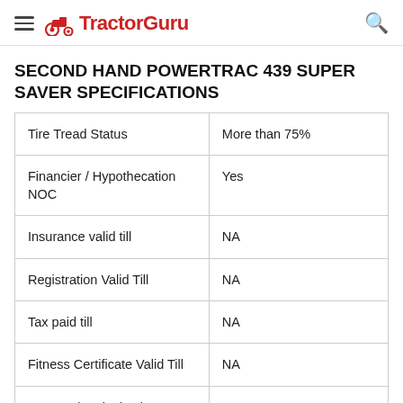TractorGuru
SECOND HAND POWERTRAC 439 SUPER SAVER SPECIFICATIONS
| Specification | Value |
| --- | --- |
| Tire Tread Status | More than 75% |
| Financier / Hypothecation NOC | Yes |
| Insurance valid till | NA |
| Registration Valid Till | NA |
| Tax paid till | NA |
| Fitness Certificate Valid Till | NA |
| FIP No. (Fuel Injection | NA |